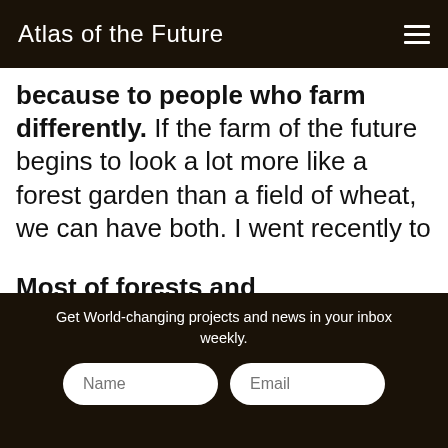Atlas of the Future
because to people who farm differently. If the farm of the future begins to look a lot more like a forest garden than a field of wheat, we can have both. I went recently to visit Martin Crawford at his forest garden in Dartington. It's an amazing, highly productive yet very natural place. As Crawford says, you learn which plants want to be there and what they want to do.
Most of fo...
Get World-changing projects and news in your inbox weekly.